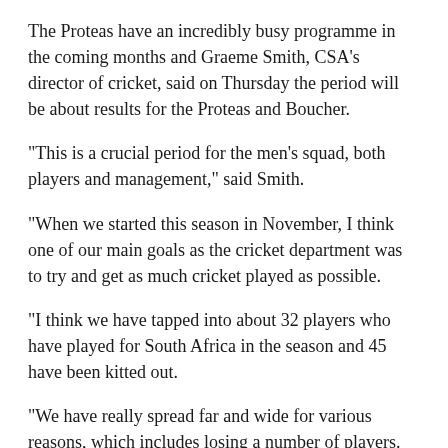The Proteas have an incredibly busy programme in the coming months and Graeme Smith, CSA's director of cricket, said on Thursday the period will be about results for the Proteas and Boucher.
“This is a crucial period for the men’s squad, both players and management,” said Smith.
“When we started this season in November, I think one of our main goals as the cricket department was to try and get as much cricket played as possible.
"I think we have tapped into about 32 players who have played for South Africa in the season and 45 have been kitted out.
“We have really spread far and wide for various reasons, which includes losing a number of players.
"The cancellation of four-day cricket in December meant that loads of players were an issue.
"It has been really hard with different squads, the names of the...